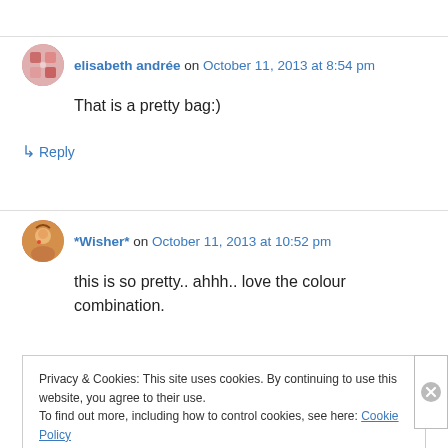elisabeth andrée on October 11, 2013 at 8:54 pm
That is a pretty bag:)
↳ Reply
*Wisher* on October 11, 2013 at 10:52 pm
this is so pretty.. ahhh.. love the colour combination.
Privacy & Cookies: This site uses cookies. By continuing to use this website, you agree to their use.
To find out more, including how to control cookies, see here: Cookie Policy
Close and accept